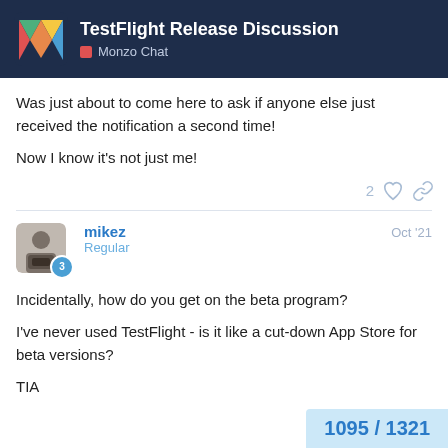TestFlight Release Discussion — Monzo Chat
Was just about to come here to ask if anyone else just received the notification a second time!

Now I know it's not just me!
mikez  Oct '21
Regular
Incidentally, how do you get on the beta program?

I've never used TestFlight - is it like a cut-down App Store for beta versions?

TIA
1095 / 1321